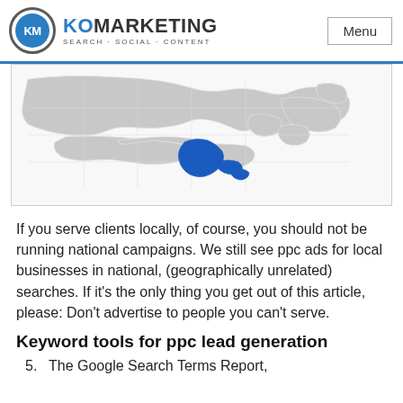KO MARKETING SEARCH · SOCIAL · CONTENT | Menu
[Figure (map): Partial map of northeastern United States with one region (appears to be Connecticut or Rhode Island area) highlighted in blue, rest in gray]
If you serve clients locally, of course, you should not be running national campaigns. We still see ppc ads for local businesses in national, (geographically unrelated) searches. If it's the only thing you get out of this article, please: Don't advertise to people you can't serve.
Keyword tools for ppc lead generation
5.  The Google Search Terms Report,